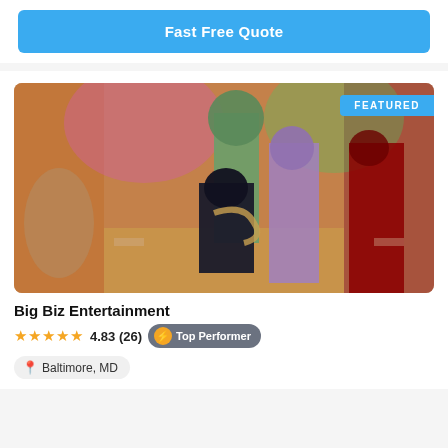Fast Free Quote
[Figure (photo): Group of performers in elaborate Venetian masquerade costumes at an event venue, with colorful lighting in the background. One performer is kneeling in the foreground in black costume. Badge overlay reads FEATURED.]
Big Biz Entertainment
4.83 (26) Top Performer
Baltimore, MD